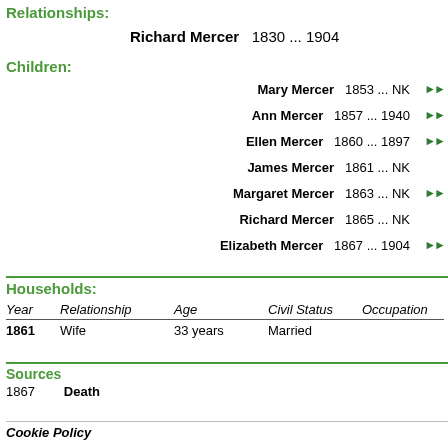Relationships:
Richard Mercer  1830 ... 1904
Children:
Mary Mercer  1853 ... NK
Ann Mercer  1857 ... 1940
Ellen Mercer  1860 ... 1897
James Mercer  1861 ... NK
Margaret Mercer  1863 ... NK
Richard Mercer  1865 ... NK
Elizabeth Mercer  1867 ... 1904
Households:
| Year | Relationship | Age | Civil Status | Occupation |
| --- | --- | --- | --- | --- |
| 1861 | Wife | 33 years | Married |  |
Sources
1867    Death
Cookie Policy